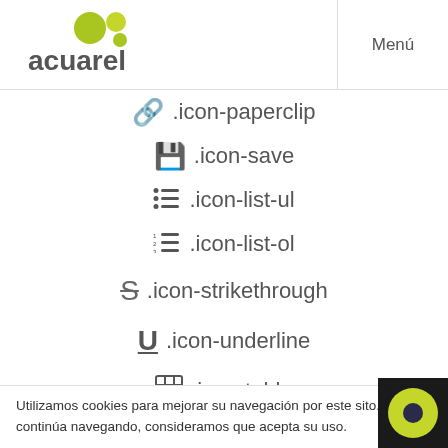[Figure (logo): Acuarel logo with green circles and grey text]
Menú
📎 .icon-paperclip
💾 .icon-save
≡ .icon-list-ul
≡ .icon-list-ol
S̶ .icon-strikethrough
U̲ .icon-underline
⊞ .icon-table
Utilizamos cookies para mejorar su navegación por este sitio. Si continúa navegando, consideramos que acepta su uso.